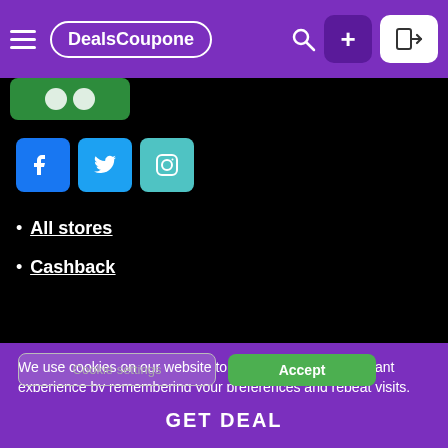DealsCoupone navigation bar with hamburger menu, brand logo, search icon, plus button, and login button
[Figure (screenshot): Green button area with circular icon on black background]
[Figure (screenshot): Social media icons: Facebook (blue), Twitter (light blue), Instagram (teal) on black background]
All stores
Cashback
We use cookies on our website to give you the most relevant experience by remembering your preferences and repeat visits. By clicking “Accept”, you consent to the use of ALL the cookies. Read More
Do not sell my personal information.
Cookie settings   Accept
GET DEAL